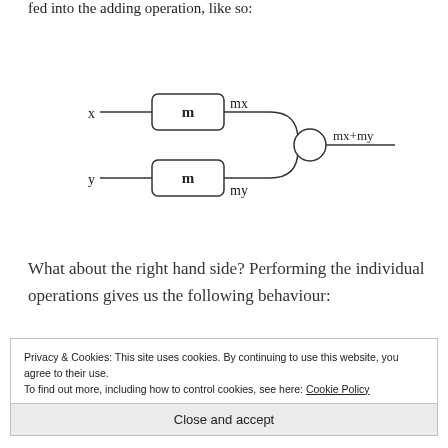fed into the adding operation, like so:
[Figure (engineering-diagram): Block diagram showing two boxes labeled 'm' with inputs x and y respectively. The first box outputs 'mx' and the second outputs 'my'. Both outputs feed into a circle (adder) which outputs 'mx+my'.]
What about the right hand side? Performing the individual operations gives us the following behaviour:
Privacy & Cookies: This site uses cookies. By continuing to use this website, you agree to their use.
To find out more, including how to control cookies, see here: Cookie Policy
Close and accept